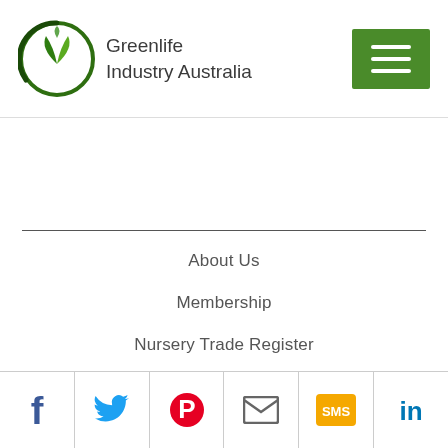Greenlife Industry Australia
About Us
Membership
Nursery Trade Register
Careers Hub
[Figure (infographic): Social media icon bar with Facebook, Twitter, Pinterest, Email, SMS, and LinkedIn icons]